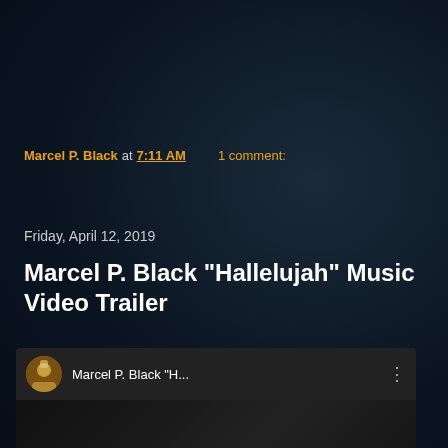Marcel P. Black at 7:11 AM    1 comment:
Share
Friday, April 12, 2019
Marcel P. Black "Hallelujah" Music Video Trailer
[Figure (screenshot): YouTube video embed showing Marcel P. Black 'H...' with play button thumbnail]